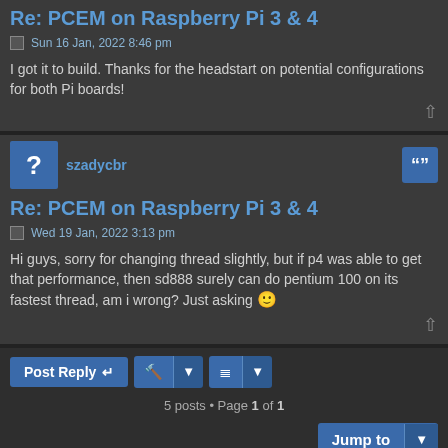Re: PCEM on Raspberry Pi 3 & 4
Sun 16 Jan, 2022 8:46 pm
I got it to build. Thanks for the headstart on potential configurations for both Pi boards!
szadycbr
Re: PCEM on Raspberry Pi 3 & 4
Wed 19 Jan, 2022 3:13 pm
Hi guys, sorry for changing thread slightly, but if p4 was able to get that performance, then sd888 surely can do pentium 100 on its fastest thread, am i wrong? Just asking 🙂
Post Reply   Tools   Sort
5 posts • Page 1 of 1
Jump to
Board index   Delete cookies   All times are UTC
Powered by phpBB® Forum Software © phpBB Limited
Style by Arty - phpBB 3.3 by MrGaby